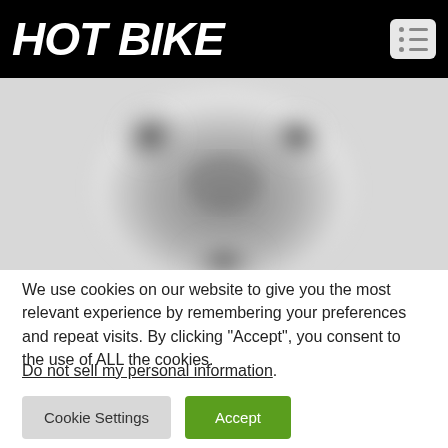HOT BIKE
[Figure (photo): Blurred grayscale photo of a motorcycle engine (V-twin style), centered in the image area]
We use cookies on our website to give you the most relevant experience by remembering your preferences and repeat visits. By clicking “Accept”, you consent to the use of ALL the cookies.
Do not sell my personal information.
Cookie Settings   Accept